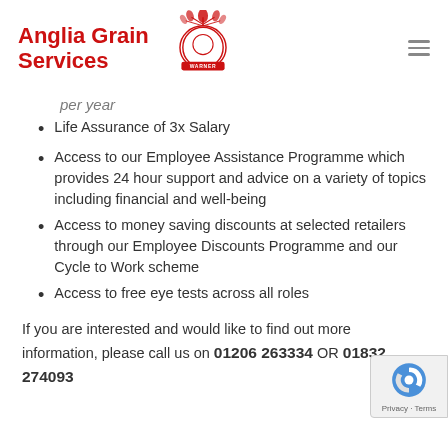Anglia Grain Services
per year (partial, cut off at top)
Life Assurance of 3x Salary
Access to our Employee Assistance Programme which provides 24 hour support and advice on a variety of topics including financial and well-being
Access to money saving discounts at selected retailers through our Employee Discounts Programme and our Cycle to Work scheme
Access to free eye tests across all roles
If you are interested and would like to find out more information, please call us on 01206 263334 OR 01832 274093